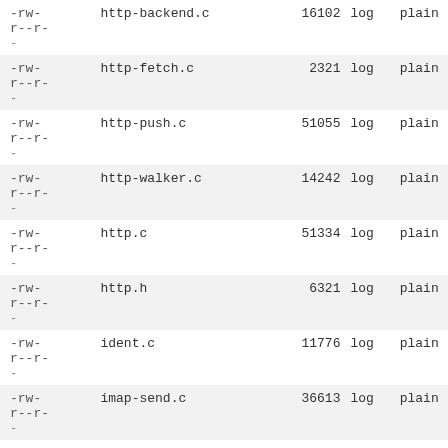| permissions | filename | size | log | plain |
| --- | --- | --- | --- | --- |
| -rw-
r--r-
- | http-backend.c | 16102 | log | plain |
| -rw-
r--r-
- | http-fetch.c | 2321 | log | plain |
| -rw-
r--r-
- | http-push.c | 51055 | log | plain |
| -rw-
r--r-
- | http-walker.c | 14242 | log | plain |
| -rw-
r--r-
- | http.c | 51334 | log | plain |
| -rw-
r--r-
- | http.h | 6321 | log | plain |
| -rw-
r--r-
- | ident.c | 11776 | log | plain |
| -rw-
r--r-
- | imap-send.c | 36613 | log | plain |
| -rw-
r--r-
- | khash.h | 12945 | log | plain |
| -rw-
r--r-
- | kwset.c | 31000 | log | plain |